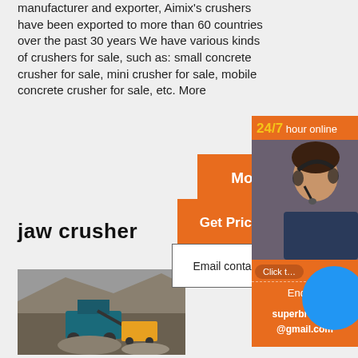manufacturer and exporter, Aimix's crushers have been exported to more than 60 countries over the past 30 years We have various kinds of crushers for sale, such as: small concrete crusher for sale, mini crusher for sale, mobile concrete crusher for sale, etc. More
[Figure (infographic): Orange buttons: 'More', 'Get Price', white 'Email contact' box, sidebar with 24/7 hour online, woman with headset, click button, Enquiry, superbrian707@gmail.com, blue circle overlay]
jaw crusher
in
[Figure (photo): Mining/quarry site with heavy crusher machine and excavator, rock piles and dirt]